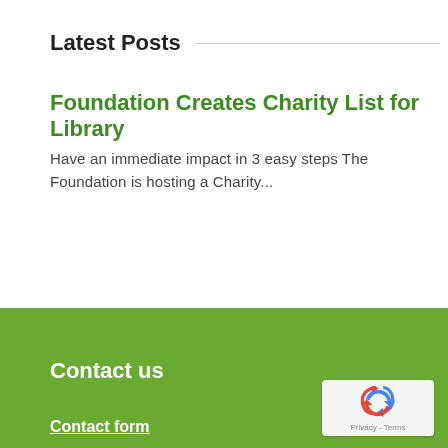Latest Posts
Foundation Creates Charity List for Library
Have an immediate impact in 3 easy steps The Foundation is hosting a Charity...
Contact us
Contact form